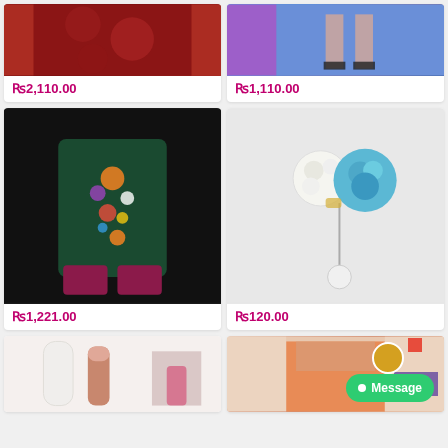[Figure (photo): Anarkali embroidered red dress, top portion cropped]
₨2,110.00
[Figure (photo): Woman wearing heels on blue background, top portion cropped]
₨1,110.00
[Figure (photo): Dark green floral embroidered kurti on mannequin with maroon shalwar]
₨1,221.00
[Figure (photo): White and blue flower brooch with pearl drop pin]
₨120.00
[Figure (photo): Hair removal device and lip product, bottom row left]
[Figure (photo): Woman in orange saree, bottom row right with message button overlay]